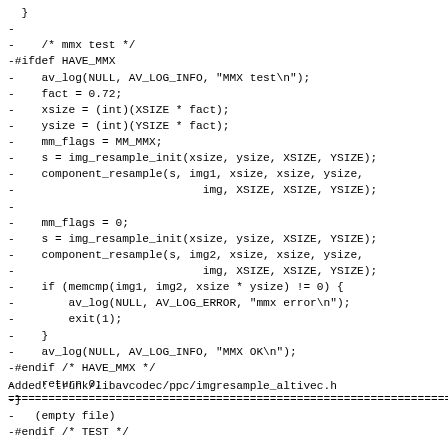Code diff showing MMX test block and file addition notice
Added: trunk/libavcodec/ppc/imgresample_altivec.h
(empty file)